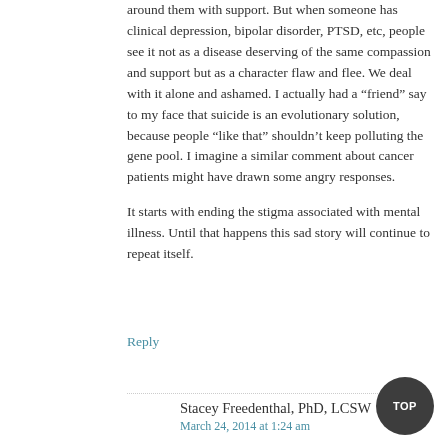...when someone has cancer, friends and family rally around them with support. But when someone has clinical depression, bipolar disorder, PTSD, etc, people see it not as a disease deserving of the same compassion and support but as a character flaw and flee. We deal with it alone and ashamed. I actually had a “friend” say to my face that suicide is an evolutionary solution, because people “like that” shouldn’t keep polluting the gene pool. I imagine a similar comment about cancer patients might have drawn some angry responses.
It starts with ending the stigma associated with mental illness. Until that happens this sad story will continue to repeat itself.
Reply
Stacey Freedenthal, PhD, LCSW
March 24, 2014 at 1:24 am